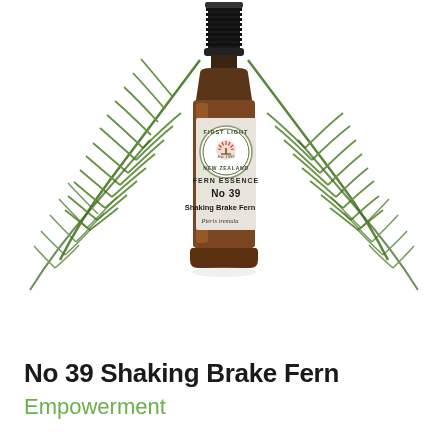[Figure (photo): Product photo of First Light New Zealand Fern Essence No 39 Shaking Brake Fern (Pteris tremula) - a small amber glass dropper bottle with a circular label featuring a pohutukawa flower logo, surrounded by green fern fronds on a white background.]
No 39 Shaking Brake Fern
Empowerment